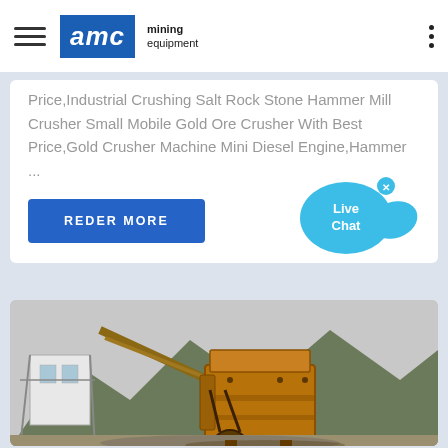AMC mining equipment
Price,Industrial Crushing Salt Rock Stone Hammer Mill Crusher Small Mobile Gold Ore Crusher With Best Price,Gold Crusher Machine Mini Diesel Engine,Hammer ...
REDER MORE
[Figure (photo): Large orange/rust-colored industrial mining crushing machine (hammer mill / impact crusher) outdoors on a rocky site with mountains in background and a white building structure to the left.]